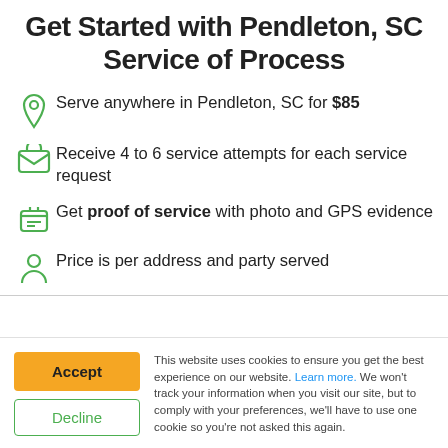Get Started with Pendleton, SC Service of Process
Serve anywhere in Pendleton, SC for $85
Receive 4 to 6 service attempts for each service request
Get proof of service with photo and GPS evidence
Price is per address and party served
This website uses cookies to ensure you get the best experience on our website. Learn more. We won't track your information when you visit our site, but to comply with your preferences, we'll have to use one cookie so you're not asked this again.